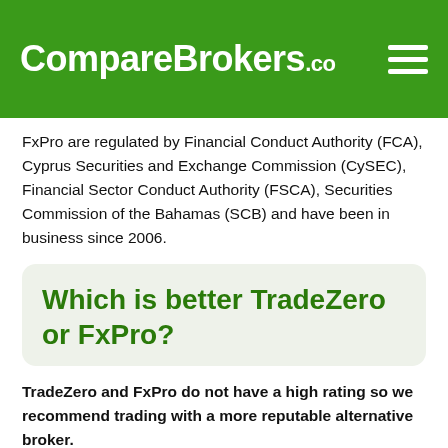CompareBrokers.co
FxPro are regulated by Financial Conduct Authority (FCA), Cyprus Securities and Exchange Commission (CySEC), Financial Sector Conduct Authority (FSCA), Securities Commission of the Bahamas (SCB) and have been in business since 2006.
Which is better TradeZero or FxPro?
TradeZero and FxPro do not have a high rating so we recommend trading with a more reputable alternative broker.
Is TradeZero a con?